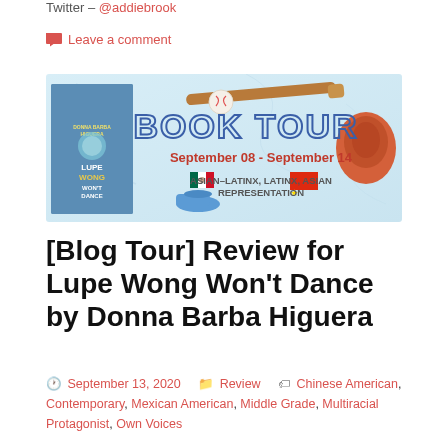Twitter – @addiebrook
Leave a comment
[Figure (illustration): Book Tour banner for Lupe Wong Won't Dance. Light blue/marble background with baseball bat, baseball glove, baseball, and cap illustrations. Book cover shown on left. Large text reads BOOK TOUR, September 08 - September 14. Mexican and Chinese flags shown. Text: Asian-Latinx, Latinx, Asian Representation.]
[Blog Tour] Review for Lupe Wong Won't Dance by Donna Barba Higuera
September 13, 2020   Review   Chinese American, Contemporary, Mexican American, Middle Grade, Multiracial Protagonist, Own Voices